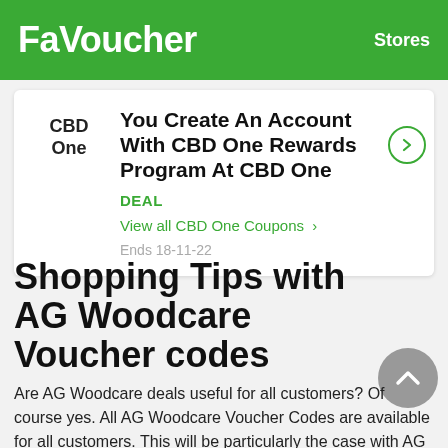FaVoucher   Stores
You Create An Account With CBD One Rewards Program At CBD One
DEAL
View all CBD One Coupons >
Ends 18-11-22
Shopping Tips with AG Woodcare Voucher codes
Are AG Woodcare deals useful for all customers? Of course yes. All AG Woodcare Voucher Codes are available for all customers. This will be particularly the case with AG Woodcare Vouchersoperating on